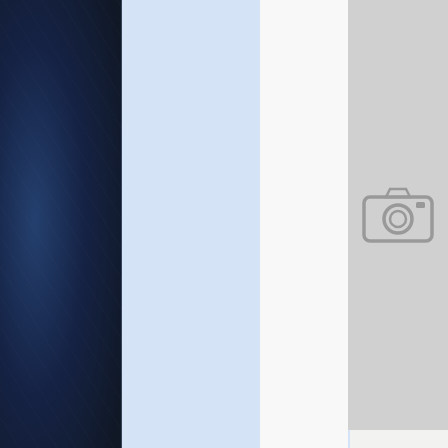[Figure (screenshot): Dark navy blue left sidebar strip with subtle texture]
[Figure (photo): Gray placeholder image with camera icon on the right side]
4:06 pm
January 20, 2012
killawolf
Probably MCSG on us1-30 ;)
[Figure (illustration): Avatar image: wizard/dark figure in blue egg shape character]
Badass Egg
posts 1380
An obstacle course?
[Figure (illustration): Partial illustration of a yellow animated character on the right]